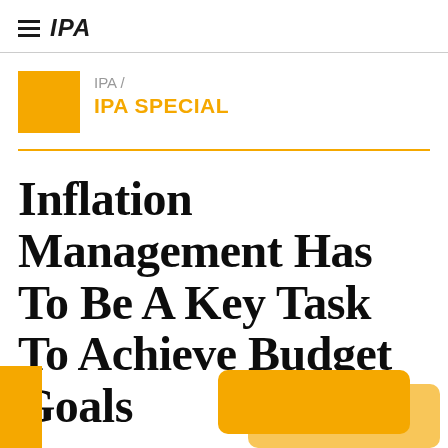≡ IPA
IPA / IPA SPECIAL
Inflation Management Has To Be A Key Task To Achieve Budget Goals
[Figure (illustration): Two overlapping yellow/golden rounded-corner cards partially visible at the bottom of the page]